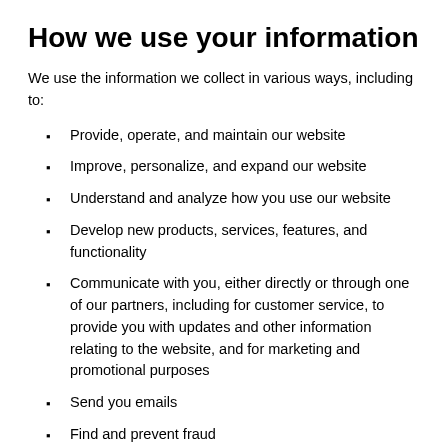How we use your information
We use the information we collect in various ways, including to:
Provide, operate, and maintain our website
Improve, personalize, and expand our website
Understand and analyze how you use our website
Develop new products, services, features, and functionality
Communicate with you, either directly or through one of our partners, including for customer service, to provide you with updates and other information relating to the website, and for marketing and promotional purposes
Send you emails
Find and prevent fraud
Log Files
houseintegrals follows a standard procedure of using log files. These files log visitors when they visit websites. All hosting